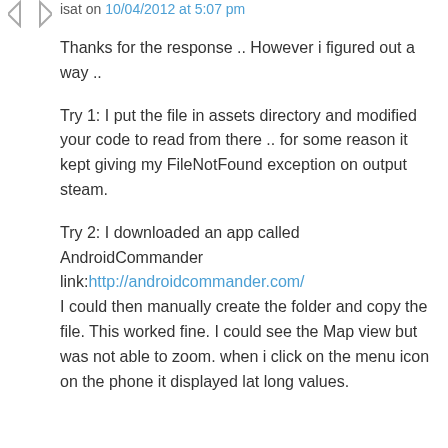isat on 10/04/2012 at 5:07 pm
Thanks for the response .. However i figured out a way ..
Try 1: I put the file in assets directory and modified your code to read from there .. for some reason it kept giving my FileNotFound exception on output steam.
Try 2: I downloaded an app called AndroidCommander
link:http://androidcommander.com/
I could then manually create the folder and copy the file. This worked fine. I could see the Map view but was not able to zoom. when i click on the menu icon on the phone it displayed lat long values.